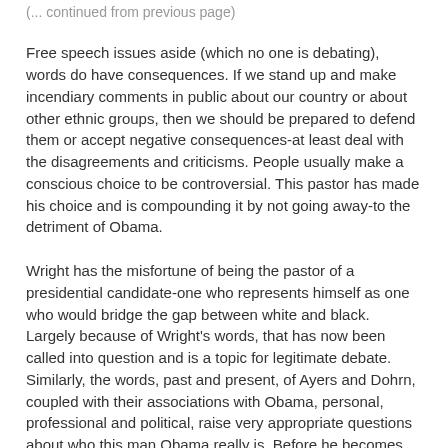(... continued from previous page)
Free speech issues aside (which no one is debating), words do have consequences. If we stand up and make incendiary comments in public about our country or about other ethnic groups, then we should be prepared to defend them or accept negative consequences-at least deal with the disagreements and criticisms. People usually make a conscious choice to be controversial. This pastor has made his choice and is compounding it by not going away-to the detriment of Obama.
Wright has the misfortune of being the pastor of a presidential candidate-one who represents himself as one who would bridge the gap between white and black. Largely because of Wright's words, that has now been called into question and is a topic for legitimate debate. Similarly, the words, past and present, of Ayers and Dohrn, coupled with their associations with Obama, personal, professional and political, raise very appropriate questions about who this man Obama really is. Before he becomes our president, I think we have a right to know. Wright, Ayres and Dohrn are legitimate campaign issues that the mainstream media tried